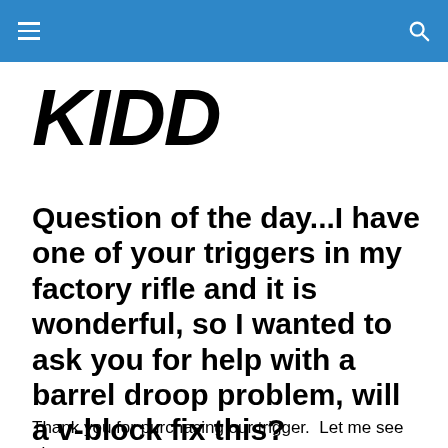KIDD (navigation bar with hamburger menu and search icon)
[Figure (logo): KIDD logo in bold black italic text on white background]
Question of the day...I have one of your triggers in my factory rifle and it is wonderful, so I wanted to ask you for help with a barrel droop problem, will a v-block fix this?
Thank you for purchasing our trigger.  Let me see about